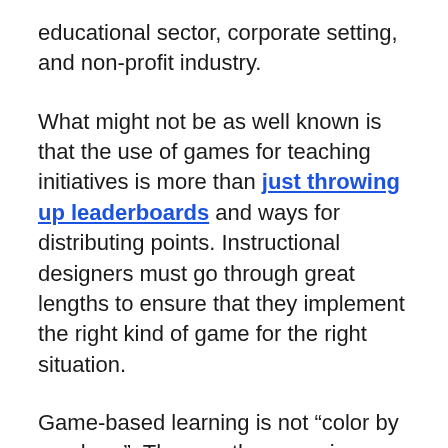educational sector, corporate setting, and non-profit industry.
What might not be as well known is that the use of games for teaching initiatives is more than just throwing up leaderboards and ways for distributing points. Instructional designers must go through great lengths to ensure that they implement the right kind of game for the right situation.
Game-based learning is not “color by numbers”. The way the game is designed and used depends a great deal on the course content, audience, budget, and institutional culture. The...